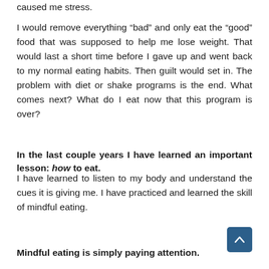caused me stress.
I would remove everything “bad” and only eat the “good” food that was supposed to help me lose weight. That would last a short time before I gave up and went back to my normal eating habits. Then guilt would set in. The problem with diet or shake programs is the end. What comes next? What do I eat now that this program is over?
In the last couple years I have learned an important lesson: how to eat.
I have learned to listen to my body and understand the cues it is giving me. I have practiced and learned the skill of mindful eating.
Mindful eating is simply paying attention.